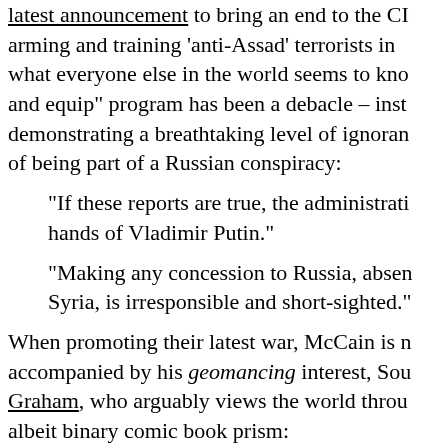latest announcement to bring an end to the CI arming and training 'anti-Assad' terrorists in what everyone else in the world seems to kno and equip" program has been a debacle – ins demonstrating a breathtaking level of ignoran of being part of a Russian conspiracy:
“If these reports are true, the administrati hands of Vladimir Putin.”
“Making any concession to Russia, absen Syria, is irresponsible and short-sighted.”
When promoting their latest war, McCain is n accompanied by his geomancing interest, Sou Graham, who arguably views the world throu albeit binary comic book prism:
“Breaking Syria apart from Iran could b